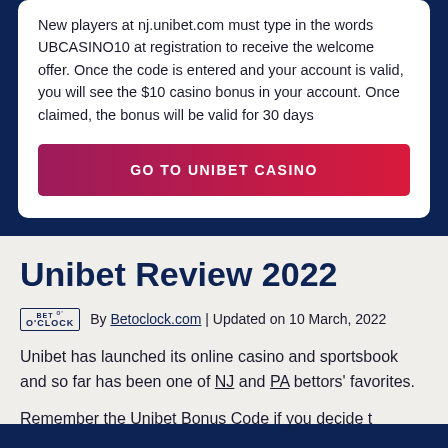New players at nj.unibet.com must type in the words UBCASINO10 at registration to receive the welcome offer. Once the code is entered and your account is valid, you will see the $10 casino bonus in your account. Once claimed, the bonus will be valid for 30 days
GO TO UNIBET CASINO
Unibet Review 2022
By Betoclock.com | Updated on 10 March, 2022
Unibet has launched its online casino and sportsbook and so far has been one of NJ and PA bettors' favorites.
Remember the Unibet Bonus Code if you decide t...